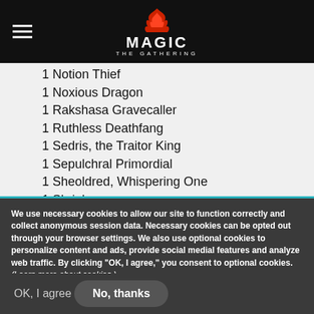Magic: The Gathering
1 Notion Thief
1 Noxious Dragon
1 Rakshasa Gravecaller
1 Ruthless Deathfang
1 Sedris, the Traitor King
1 Sepulchral Primordial
1 Sheoldred, Whispering One
1 Shriekmaw
1 Sidisi, Undead Vizier
1 Vulturous Aven
We use necessary cookies to allow our site to function correctly and collect anonymous session data. Necessary cookies can be opted out through your browser settings. We also use optional cookies to personalize content and ads, provide social medial features and analyze web traffic. By clicking “OK, I agree,” you consent to optional cookies. (Learn more about cookies.)
OK, I agree   No, thanks